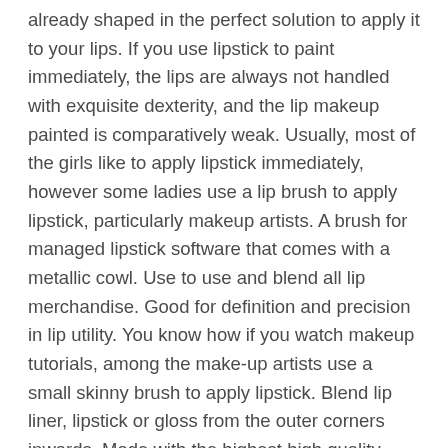already shaped in the perfect solution to apply it to your lips. If you use lipstick to paint immediately, the lips are always not handled with exquisite dexterity, and the lip makeup painted is comparatively weak. Usually, most of the girls like to apply lipstick immediately, however some ladies use a lip brush to apply lipstick, particularly makeup artists. A brush for managed lipstick software that comes with a metallic cowl. Use to use and blend all lip merchandise. Good for definition and precision in lip utility. You know how if you watch makeup tutorials, among the make-up artists use a small skinny brush to apply lipstick. Blend lip liner, lipstick or gloss from the outer corners inwards. Made with the highest high quality supplies and excellence in hand-crafting, each brush is exclusive, providing specific bristle lower, kind and density to realize most precision and clean even end for flawless make-up seems. The retractable defining end has been perfected for precision for crisp edges and lip art. three. In case you are a lip liner fan, the lip brush